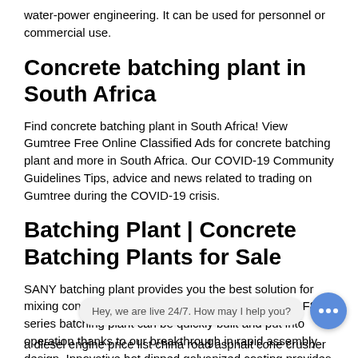water-power engineering. It can be used for personnel or commercial use.
Concrete batching plant in South Africa
Find concrete batching plant in South Africa! View Gumtree Free Online Classified Ads for concrete batching plant and more in South Africa. Our COVID-19 Community Guidelines Tips, advice and news related to trading on Gumtree during the COVID-19 crisis.
Batching Plant | Concrete Batching Plants for Sale
SANY batching plant provides you the best solution for mixing concrete on large or small construction sites. F8 series batching plant can be quickly built and put into operation thanks to our breakthrough in rapid assembly design. Innovative hot dipped galvanized coating provides long last protection against
a diesel engine price list china road asphalt cone crusher